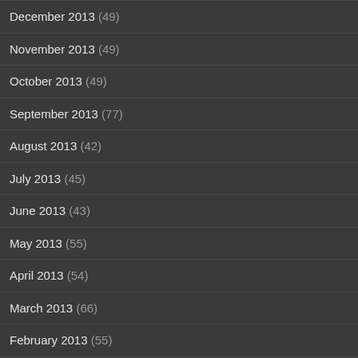December 2013 (49)
November 2013 (49)
October 2013 (49)
September 2013 (77)
August 2013 (42)
July 2013 (45)
June 2013 (43)
May 2013 (55)
April 2013 (54)
March 2013 (66)
February 2013 (55)
January 2013 (58)